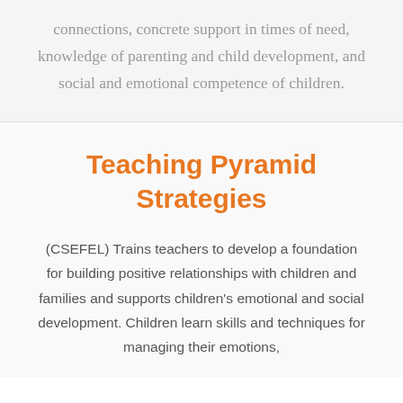connections, concrete support in times of need, knowledge of parenting and child development, and social and emotional competence of children.
Teaching Pyramid Strategies
(CSEFEL) Trains teachers to develop a foundation for building positive relationships with children and families and supports children's emotional and social development. Children learn skills and techniques for managing their emotions,